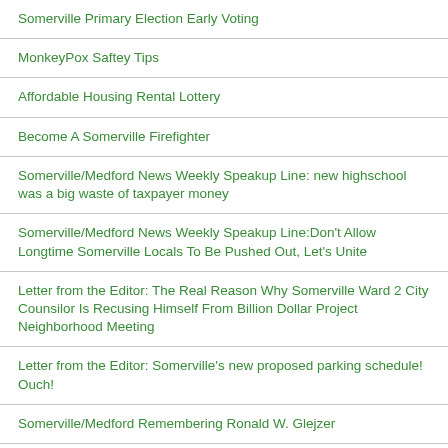Somerville Primary Election Early Voting
MonkeyPox Saftey Tips
Affordable Housing Rental Lottery
Become A Somerville Firefighter
Somerville/Medford News Weekly Speakup Line: new highschool was a big waste of taxpayer money
Somerville/Medford News Weekly Speakup Line:Don't Allow Longtime Somerville Locals To Be Pushed Out, Let's Unite
Letter from the Editor: The Real Reason Why Somerville Ward 2 City Counsilor Is Recusing Himself From Billion Dollar Project Neighborhood Meeting
Letter from the Editor: Somerville's new proposed parking schedule! Ouch!
Somerville/Medford Remembering Ronald W. Glejzer
Somerville Police Department Updates